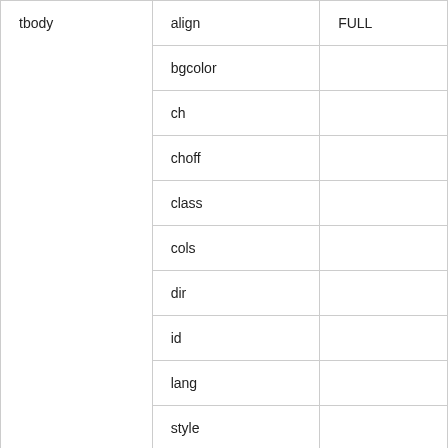| Element | Attribute | Support |
| --- | --- | --- |
| tbody | align | FULL |
|  | bgcolor |  |
|  | ch |  |
|  | choff |  |
|  | class |  |
|  | cols |  |
|  | dir |  |
|  | id |  |
|  | lang |  |
|  | style |  |
|  | valign |  |
| td | abbr | FULL |